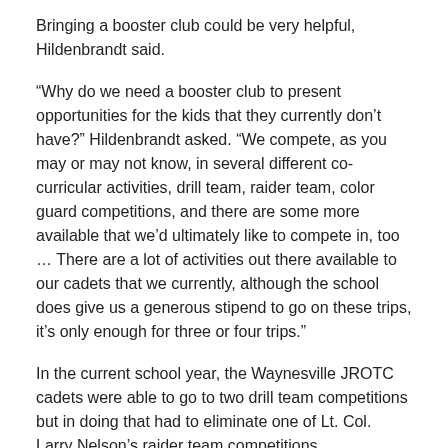Bringing a booster club could be very helpful, Hildenbrandt said.
“Why do we need a booster club to present opportunities for the kids that they currently don’t have?” Hildenbrandt asked. “We compete, as you may or may not know, in several different co-curricular activities, drill team, raider team, color guard competitions, and there are some more available that we’d ultimately like to compete in, too … There are a lot of activities out there available to our cadets that we currently, although the school does give us a generous stipend to go on these trips, it’s only enough for three or four trips.”
In the current school year, the Waynesville JROTC cadets were able to go to two drill team competitions but in doing that had to eliminate one of Lt. Col. Larry Nelson’s raider team competitions.
“I’d like to do seven or eight drill meets next year, and in order to do that, we’ll raise our own money with our booster club program,” Hildenbrandt said.
Responding to questions from board members, Hildenbrandt said the Waynesville JROTC program began the 2008-09 school year with 334 cadets but have grown to 370. That represented about a...